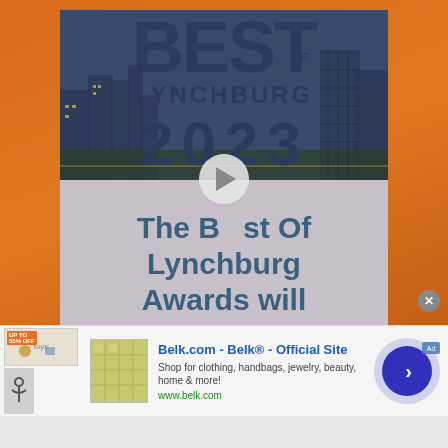[Figure (screenshot): Video player thumbnail showing 'Best of Lynchburg 2023' award text over a city skyline, with a play button overlaid in the center. The bottom portion shows subtitle text: 'The Best Of Lynchburg Awards will' in teal/steel blue on a light mauve background.]
[Figure (screenshot): Advertisement banner for Belk.com. Shows product thumbnails on the left (bedding and toys with 'UP TO 55% OFF' and 'UP TO 85%' tags), a product image, and ad text: 'Belk.com - Belk® - Official Site' (bold blue), 'Shop for clothing, handbags, jewelry, beauty, home & more!', 'www.belk.com' (green). A large circular CTA button (blue with white arrow) is on the right. A gray X close button appears top right.]